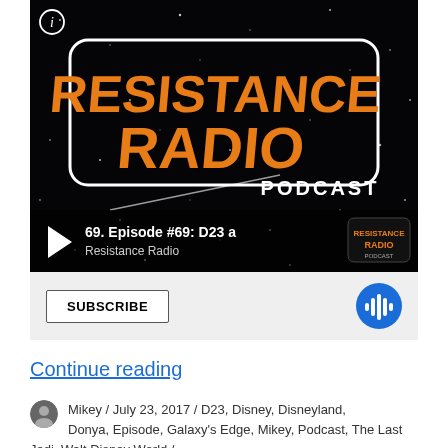[Figure (screenshot): Embedded podcast player for 'Resistance Radio Podcast' episode #69, showing the show logo (orange text on black starfield background), a play button, episode title '69. Episode #69: D23 a', subtitle 'Resistance Radio', a SUBSCRIBE button, and a blue podcast app icon.]
Continue reading
Mikey / July 23, 2017 / D23, Disney, Disneyland, Donya, Episode, Galaxy's Edge, Mikey, Podcast, The Last Jedi, Walt Disney World / ...